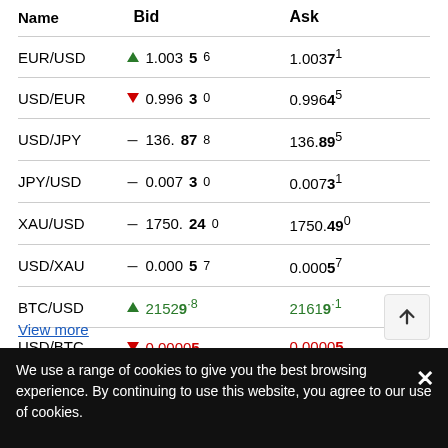| Name | Bid | Ask |
| --- | --- | --- |
| EUR/USD | ▲ 1.00356 | 1.00371 |
| USD/EUR | ▼ 0.99630 | 0.99645 |
| USD/JPY | – 136.878 | 136.895 |
| JPY/USD | – 0.00730 | 0.00731 |
| XAU/USD | – 1750.240 | 1750.490 |
| USD/XAU | – 0.000057 | 0.000057 |
| BTC/USD | ▲ 21529.8 | 21619.1 |
| USD/BTC | ▼ 0.000005 | 0.000005 |
View more
We use a range of cookies to give you the best browsing experience. By continuing to use this website, you agree to our use of cookies.